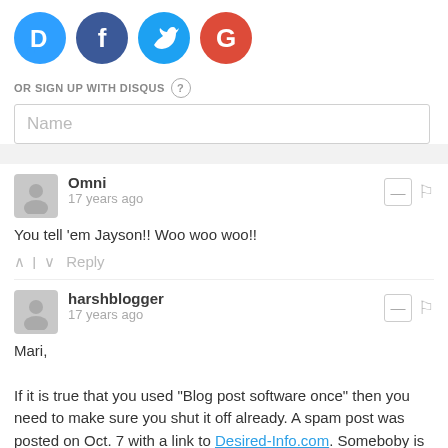[Figure (illustration): Social login icons: Disqus (blue D), Facebook (blue f), Twitter (blue bird), Google (red G)]
OR SIGN UP WITH DISQUS ?
Name
Omni
17 years ago
You tell 'em Jayson!! Woo woo woo!!
harshblogger
17 years ago
Mari,

If it is true that you used "Blog post software once" then you need to make sure you shut it off already. A spam post was posted on Oct. 7 with a link to Desired-Info.com. Someboby is trying to drive traffic to your site. If it is not your comapny they who?